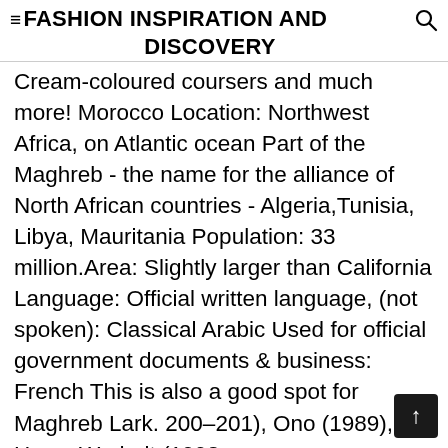≡FASHION INSPIRATION AND DISCOVERY
Cream-coloured coursers and much more! Morocco Location: Northwest Africa, on Atlantic ocean Part of the Maghreb - the name for the alliance of North African countries - Algeria,Tunisia, Libya, Mauritania Population: 33 million.Area: Slightly larger than California Language: Official written language, (not spoken): Classical Arabic Used for official government documents & business: French This is also a good spot for Maghreb Lark. 200–201), Ono (1989), del Hoyo, Warheit (1992,